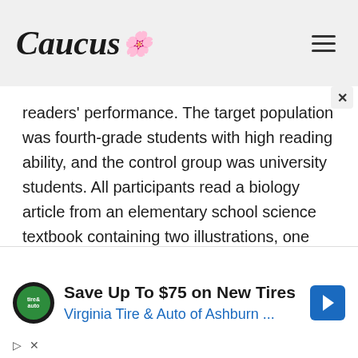Caucus
readers' performance. The target population was fourth-grade students with high reading ability, and the control group was university students. All participants read a biology article from an elementary school science textbook containing two illustrations, one representational and one decorative. After the reading task, participants answered questions on recognition, textual, and illustration items. Unsurprisingly, the university students outperformed the younger students on all
[Figure (other): Advertisement banner: Save Up To $75 on New Tires - Virginia Tire & Auto of Ashburn ...]